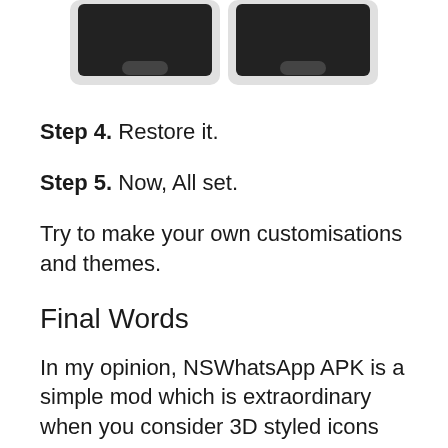[Figure (illustration): Two smartphone outlines (partial, showing bottom portion with home button area) side by side on white background]
Step 4. Restore it.
Step 5. Now, All set.
Try to make your own customisations and themes.
Final Words
In my opinion, NSWhatsApp APK is a simple mod which is extraordinary when you consider 3D styled icons and UI edits. And themes section is included in this app and no need to download another app for this. One of the advantage when compared to GBWA.